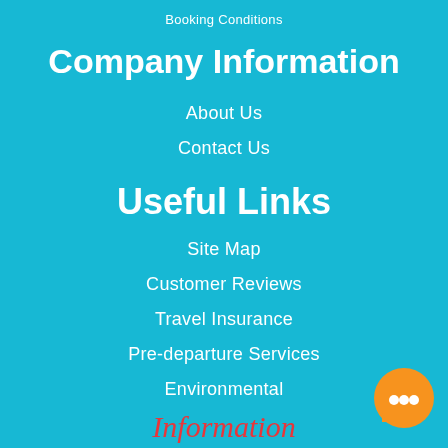Booking Conditions
Company Information
About Us
Contact Us
Useful Links
Site Map
Customer Reviews
Travel Insurance
Pre-departure Services
Environmental
Information